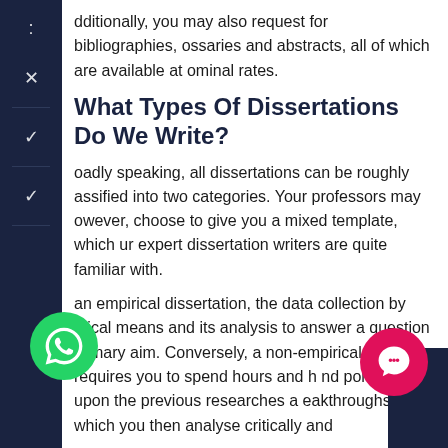Additionally, you may also request for bibliographies, glossaries and abstracts, all of which are available at nominal rates.
What Types Of Dissertations Do We Write?
Broadly speaking, all dissertations can be roughly classified into two categories. Your professors may however, choose to give you a mixed template, which our expert dissertation writers are quite familiar with.
In an empirical dissertation, the data collection by ethical means and its analysis to answer a question is the primary aim. Conversely, a non-empirical dissertation requires you to spend hours and hours pondering upon the previous researches and breakthroughs, which you then analyse critically and